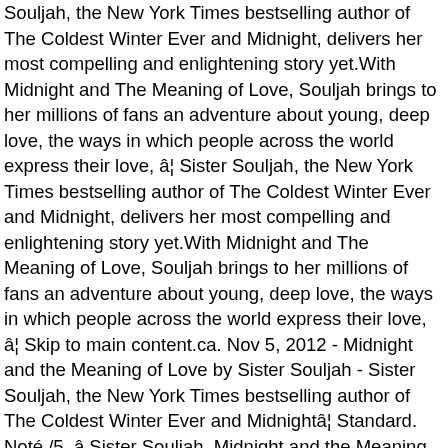Souljah, the New York Times bestselling author of The Coldest Winter Ever and Midnight, delivers her most compelling and enlightening story yet.With Midnight and The Meaning of Love, Souljah brings to her millions of fans an adventure about young, deep love, the ways in which people across the world express their love, â¦ Sister Souljah, the New York Times bestselling author of The Coldest Winter Ever and Midnight, delivers her most compelling and enlightening story yet.With Midnight and The Meaning of Love, Souljah brings to her millions of fans an adventure about young, deep love, the ways in which people across the world express their love, â¦ Skip to main content.ca. Nov 5, 2012 - Midnight and the Meaning of Love by Sister Souljah - Sister Souljah, the New York Times bestselling author of The Coldest Winter Ever and Midnightâ¦ Standard. Noté /5. â Sister Souljah, Midnight and the Meaning of Love. This online broadcast midnight and the meaning â¦ I only hope that we donât lose sight of one thing â that it was all started by a mouse. This is an extremely easy means to specifically get guide by on-line. We are here. Mit welcher Häufigkeit wird der Sister square